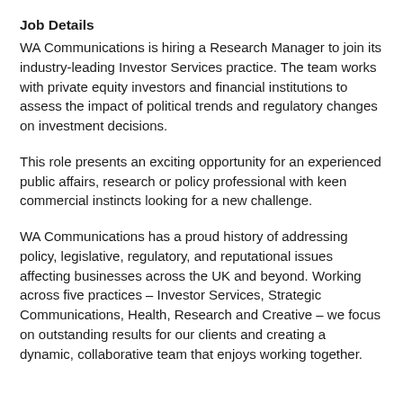Job Details
WA Communications is hiring a Research Manager to join its industry-leading Investor Services practice. The team works with private equity investors and financial institutions to assess the impact of political trends and regulatory changes on investment decisions.
This role presents an exciting opportunity for an experienced public affairs, research or policy professional with keen commercial instincts looking for a new challenge.
WA Communications has a proud history of addressing policy, legislative, regulatory, and reputational issues affecting businesses across the UK and beyond. Working across five practices – Investor Services, Strategic Communications, Health, Research and Creative – we focus on outstanding results for our clients and creating a dynamic, collaborative team that enjoys working together.